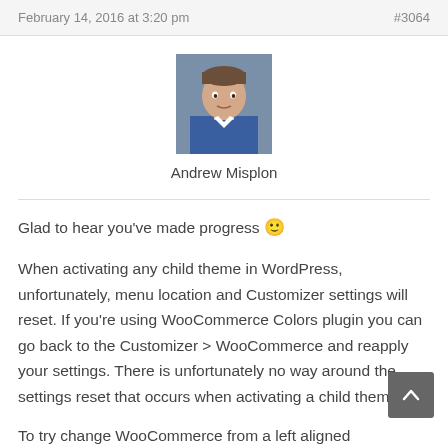February 14, 2016 at 3:20 pm   #3064
[Figure (photo): Avatar photo of Andrew Misplon, a young man in a blue jacket]
Andrew Misplon
Glad to hear you've made progress 🙂
When activating any child theme in WordPress, unfortunately, menu location and Customizer settings will reset. If you're using WooCommerce Colors plugin you can go back to the Customizer > WooCommerce and reapply your settings. There is unfortunately no way around the settings reset that occurs when activating a child theme.
To try change WooCommerce from a left aligned